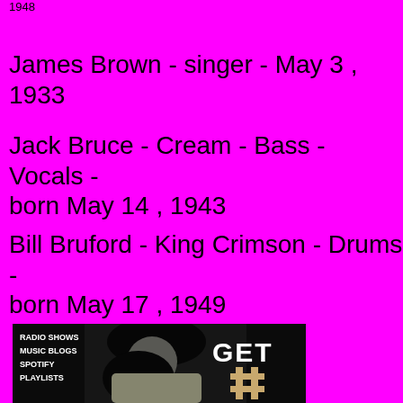1948
James Brown - singer - May 3 , 1933
Jack Bruce - Cream - Bass - Vocals - born May 14 , 1943
Bill Bruford - King Crimson - Drums - born May 17 , 1949
[Figure (photo): Black and white photo of a woman with dark hair leaning forward, overlaid with text 'RADIO SHOWS MUSIC BLOGS SPOTIFY PLAYLISTS' and 'GET' in large letters, with a decorative cross/hash symbol in tan/gold color on the right side]